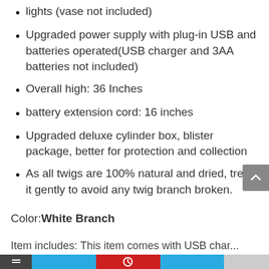lights (vase not included)
Upgraded power supply with plug-in USB and batteries operated(USB charger and 3AA batteries not included)
Overall high: 36 Inches
battery extension cord: 16 inches
Upgraded deluxe cylinder box, blister package, better for protection and collection
As all twigs are 100% natural and dried, treat it gently to avoid any twig branch broken.
Color: White Branch
...This item comes with USB charger...